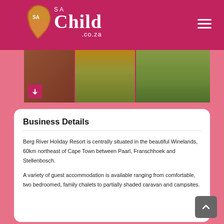SA Child .co.za
[Figure (screenshot): Website screenshot showing SAChild.co.za header logo with Africa silhouette and navigation hamburger menu, plus a landscape image strip below]
Business Details
Berg River Holiday Resort is centrally situated in the beautiful Winelands, 60km northeast of Cape Town between Paarl, Franschhoek and Stellenbosch.
A variety of guest accommodation is available ranging from comfortable, two bedroomed, family chalets to partially shaded caravan and campsites.